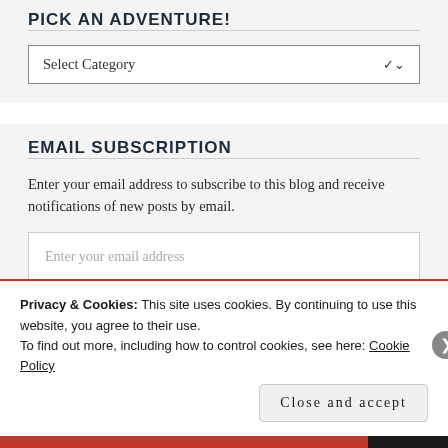PICK AN ADVENTURE!
Select Category
EMAIL SUBSCRIPTION
Enter your email address to subscribe to this blog and receive notifications of new posts by email.
Enter your email address
Privacy & Cookies: This site uses cookies. By continuing to use this website, you agree to their use.
To find out more, including how to control cookies, see here: Cookie Policy
Close and accept